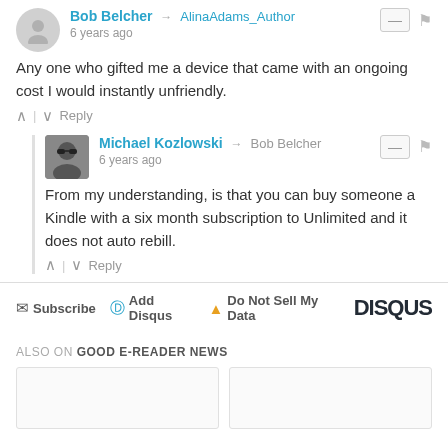Bob Belcher → AlinaAdams_Author
6 years ago
Any one who gifted me a device that came with an ongoing cost I would instantly unfriendly.
^ | ∨  Reply
Michael Kozlowski → Bob Belcher
6 years ago
From my understanding, is that you can buy someone a Kindle with a six month subscription to Unlimited and it does not auto rebill.
^ | ∨  Reply
✉ Subscribe  ⓓ Add Disqus  ⚠ Do Not Sell My Data   DISQUS
ALSO ON GOOD E-READER NEWS